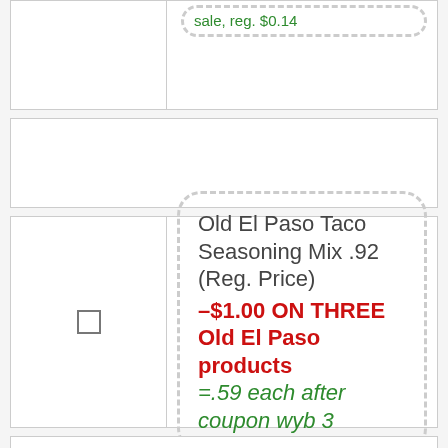sale, reg. $0.14
Old El Paso Taco Seasoning Mix .92 (Reg. Price) –$1.00 ON THREE Old El Paso products =.59 each after coupon wyb 3